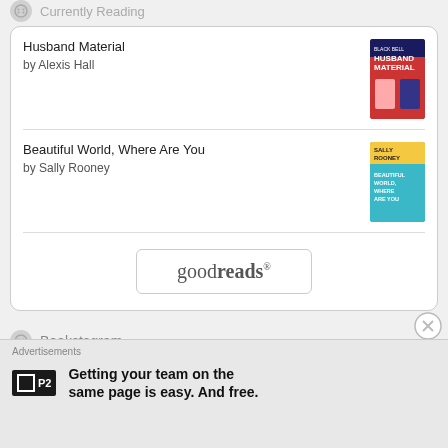Currently Reading
Husband Material by Alexis Hall
Beautiful World, Where Are You by Sally Rooney
[Figure (logo): goodreads logo button]
Bookstagram
No Instagram images were found.
Twitter
My Tweets
Advertisements
Getting your team on the same page is easy. And free.